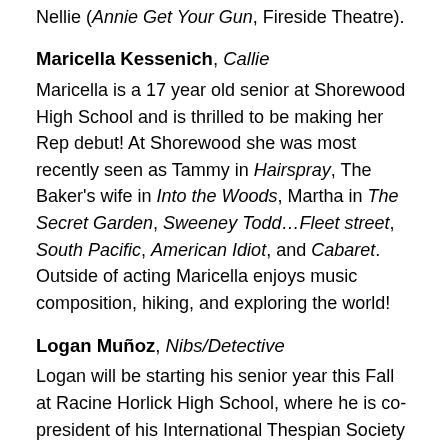Nellie (Annie Get Your Gun, Fireside Theatre).
Maricella Kessenich, Callie
Maricella is a 17 year old senior at Shorewood High School and is thrilled to be making her Rep debut! At Shorewood she was most recently seen as Tammy in Hairspray, The Baker's wife in Into the Woods, Martha in The Secret Garden, Sweeney Todd…Fleet street, South Pacific, American Idiot, and Cabaret. Outside of acting Maricella enjoys music composition, hiking, and exploring the world!
Logan Muñoz, Nibs/Detective
Logan will be starting his senior year this Fall at Racine Horlick High School, where he is co-president of his International Thespian Society troupe, leader of his school's Chorale choir, and an AP student. He most recently played the role of Shrek in Shrek the Musical at